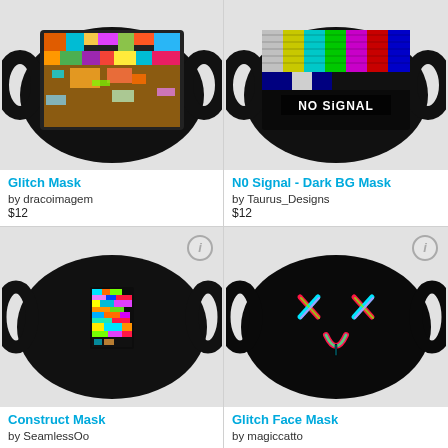[Figure (photo): Face mask with colorful glitch art design featuring a face with multicolored pixelated blocks]
Glitch Mask
by dracoimagem
$12
[Figure (photo): Face mask with TV color bars and 'NO SIGNAL' text on dark background]
N0 Signal - Dark BG Mask
by Taurus_Designs
$12
[Figure (photo): Black face mask with small glitchy digital image in center]
Construct Mask
by SeamlessOo
[Figure (photo): Black face mask with glitch X eyes and tongue emoji design in rainbow colors]
Glitch Face Mask
by magiccatto